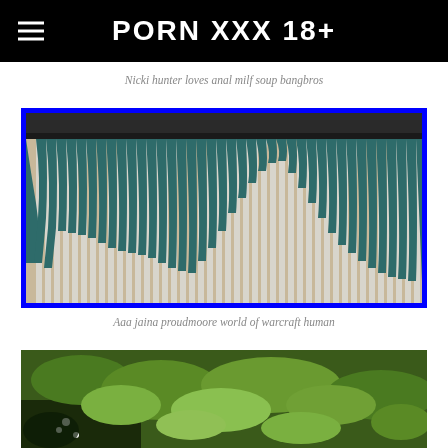PORN XXX 18+
Nicki hunter loves anal milf soup bangbros
[Figure (photo): Photo of teal/dark green and white vertical curtains hanging from a rod, with a scalloped valance, bordered by a bright blue frame]
Aaa jaina proudmoore world of warcraft human
[Figure (photo): Photo of green plants and foliage on the ground]